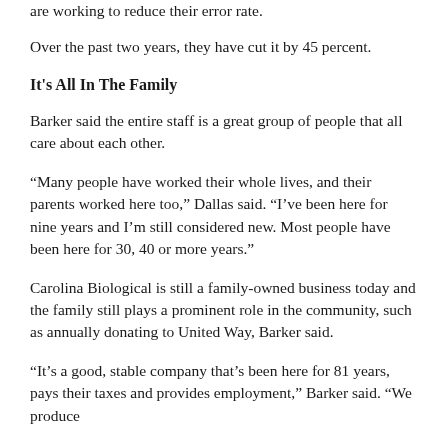are working to reduce their error rate.
Over the past two years, they have cut it by 45 percent.
It's All In The Family
Barker said the entire staff is a great group of people that all care about each other.
“Many people have worked their whole lives, and their parents worked here too,” Dallas said. “I’ve been here for nine years and I’m still considered new. Most people have been here for 30, 40 or more years.”
Carolina Biological is still a family-owned business today and the family still plays a prominent role in the community, such as annually donating to United Way, Barker said.
“It’s a good, stable company that’s been here for 81 years, pays their taxes and provides employment,” Barker said. “We produce products that i fall people, from the in part of